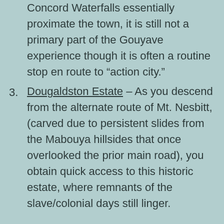Concord Waterfalls essentially proximate the town, it is still not a primary part of the Gouyave experience though it is often a routine stop en route to “action city.”
Dougaldston Estate – As you descend from the alternate route of Mt. Nesbitt, (carved due to persistent slides from the Mabouya hillsides that once overlooked the prior main road), you obtain quick access to this historic estate, where remnants of the slave/colonial days still linger.